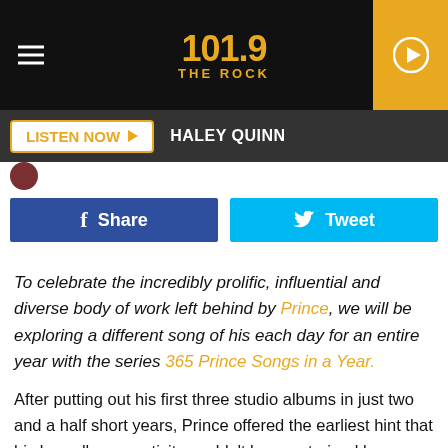[Figure (screenshot): 101.9 The Rock radio station logo header with hamburger menu and play button]
LISTEN NOW  HALEY QUINN
[Figure (screenshot): Facebook Share and Twitter Tweet social sharing buttons]
To celebrate the incredibly prolific, influential and diverse body of work left behind by Prince, we will be exploring a different song of his each day for an entire year with the series 365 Prince Songs in a Year.
After putting out his first three studio albums in just two and a half short years, Prince offered the earliest hint that his boundless creativity couldn't be constrained by normal means with the May 29, 1981 release of his debut non-album